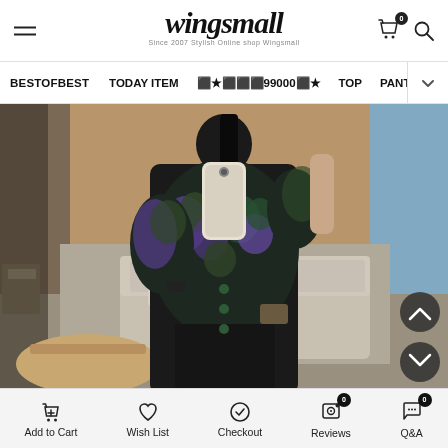wingsmall — Since 2007 Stylish Online shop Wingsmall
BESTOFBEST  TODAY ITEM  ★99000★  TOP  PANTS
[Figure (photo): Woman in a dark floral patterned blouse with puff sleeves and black skirt taking a mirror selfie in what appears to be a hotel room with a sofa in the background.]
Add to Cart  Wish List  Checkout  Reviews  Q&A